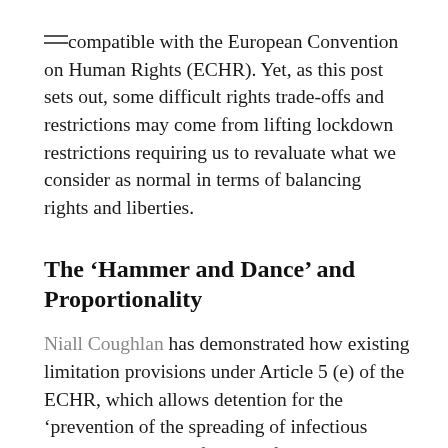compatible with the European Convention on Human Rights (ECHR). Yet, as this post sets out, some difficult rights trade-offs and restrictions may come from lifting lockdown restrictions requiring us to revaluate what we consider as normal in terms of balancing rights and liberties.
The ‘Hammer and Dance’ and Proportionality
Niall Coughlan has demonstrated how existing limitation provisions under Article 5 (e) of the ECHR, which allows detention for the ‘prevention of the spreading of infectious disease’, could justify its lawfulness. The way in which the European Court of Human Rights (ECtHR) has interpreted this provision (see